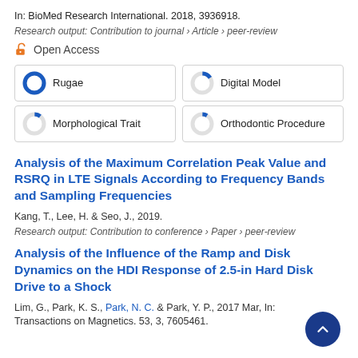In: BioMed Research International. 2018, 3936918.
Research output: Contribution to journal › Article › peer-review
Open Access
[Figure (infographic): Four keyword donut chart cells: Rugae (100%), Digital Model (~15%), Morphological Trait (~10%), Orthodontic Procedure (~8%)]
Analysis of the Maximum Correlation Peak Value and RSRQ in LTE Signals According to Frequency Bands and Sampling Frequencies
Kang, T., Lee, H. & Seo, J., 2019.
Research output: Contribution to conference › Paper › peer-review
Analysis of the Influence of the Ramp and Disk Dynamics on the HDI Response of 2.5-in Hard Disk Drive to a Shock
Lim, G., Park, K. S., Park, N. C. & Park, Y. P., 2017 Mar, In: Transactions on Magnetics. 53, 3, 7605461.